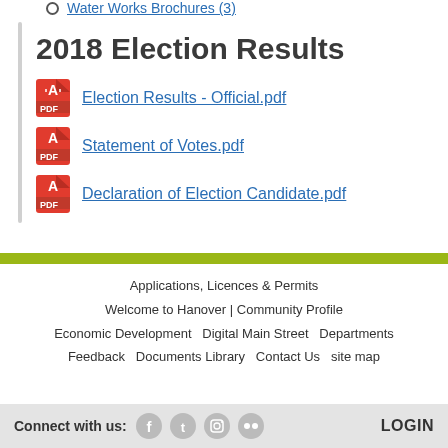Water Works Brochures (3)
2018 Election Results
Election Results - Official.pdf
Statement of Votes.pdf
Declaration of Election Candidate.pdf
Applications, Licences & Permits | Welcome to Hanover | Community Profile | Economic Development | Digital Main Street | Departments | Feedback | Documents Library | Contact Us | site map
Connect with us: [social icons] LOGIN